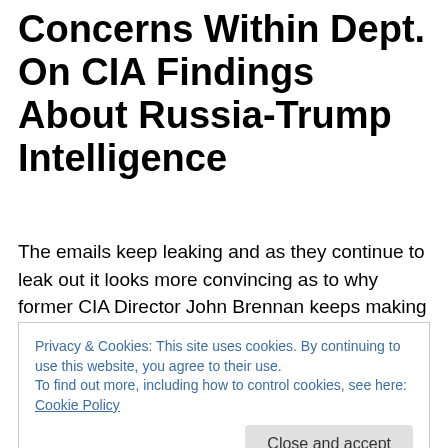Concerns Within Dept. On CIA Findings About Russia-Trump Intelligence
The emails keep leaking and as they continue to leak out it looks more convincing as to why former CIA Director John Brennan keeps making a spectacle of himself in various interviews that he has done with the liberal news networks. Sometimes when he is speaking he seems to be grasping by being short of breath for his next words to
Privacy & Cookies: This site uses cookies. By continuing to use this website, you agree to their use.
To find out more, including how to control cookies, see here: Cookie Policy
candidate running for the high office. If you patriots have